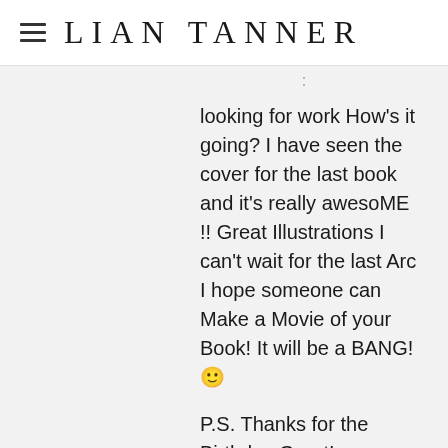LIAN TANNER
looking for work How's it going? I have seen the cover for the last book and it's really awesoME !! Great Illustrations I can't wait for the last Arc I hope someone can Make a Movie of your Book! It will be a BANG! 🙂

P.S. Thanks for the Birthday Greet!
2. Lian says:
April 15, 2012 at 3:56 pm
Hi Raiin, good to hear from